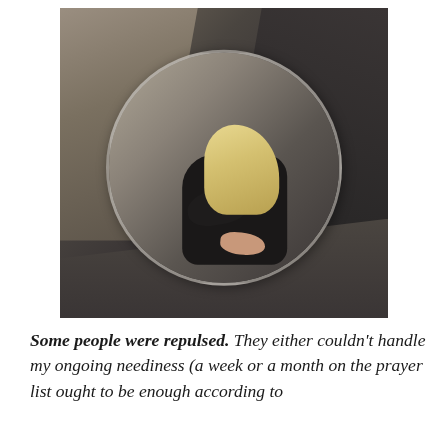[Figure (photo): A woman with long blonde hair wearing black clothing, curled up in a fetal position inside a large circular bubble or lens, set against a dark concrete corner room. The image is dramatic and evokes isolation and despair.]
Some people were repulsed. They either couldn't handle my ongoing neediness (a week or a month on the prayer list ought to be enough according to